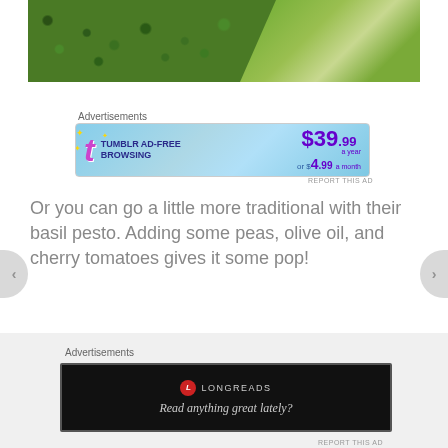[Figure (photo): Close-up photo of frozen green peas and broccoli on a light blue background]
Advertisements
[Figure (infographic): Tumblr Ad-Free Browsing advertisement banner: $39.99 a year or $4.99 a month]
Or you can go a little more traditional with their basil pesto. Adding some peas, olive oil, and cherry tomatoes gives it some pop!
[Figure (photo): Bottom portion of a plate with tan/gold coloring against dark background]
Advertisements
[Figure (infographic): Longreads advertisement: Read anything great lately?]